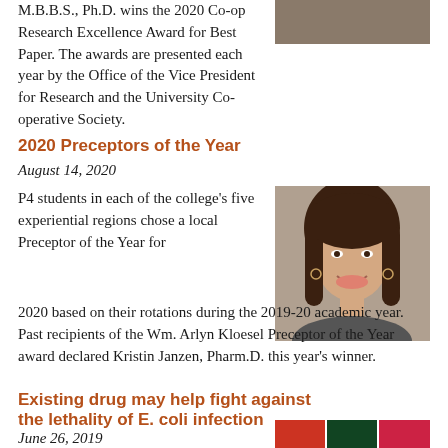M.B.B.S., Ph.D. wins the 2020 Co-op Research Excellence Award for Best Paper. The awards are presented each year by the Office of the Vice President for Research and the University Co-operative Society.
[Figure (photo): Photo of researchers in a lab setting]
2020 Preceptors of the Year
August 14, 2020
[Figure (photo): Portrait photo of Kristin Janzen, Pharm.D., a young woman with dark hair smiling]
P4 students in each of the college's five experiential regions chose a local Preceptor of the Year for 2020 based on their rotations during the 2019-20 academic year. Past recipients of the Wm. Arlyn Kloesel Preceptor of the Year award declared Kristin Janzen, Pharm.D. this year's winner.
Existing drug may help fight against the lethality of E. coli infection
June 26, 2019
[Figure (photo): Small multi-panel microscopy or lab images]